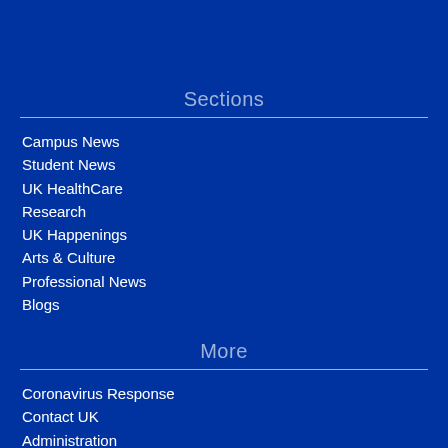Sections
Campus News
Student News
UK HealthCare
Research
UK Happenings
Arts & Culture
Professional News
Blogs
More
Coronavirus Response
Contact UK
Administration